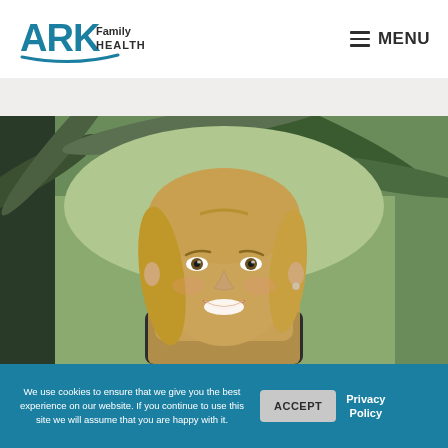ARK Family Health — MENU
[Figure (photo): Portrait photo of a smiling blonde woman outdoors with palm tree foliage in the background]
We use cookies to ensure that we give you the best experience on our website. If you continue to use this site we will assume that you are happy with it.
ACCEPT
Privacy Policy